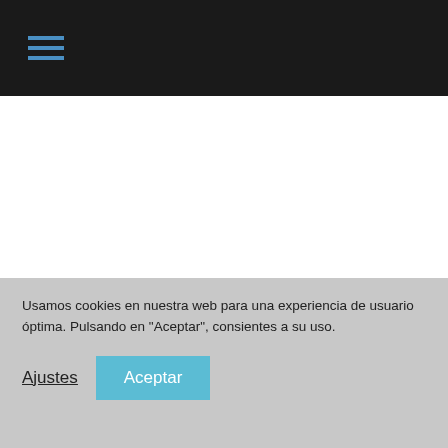[Figure (screenshot): Dark navigation bar with blue hamburger menu icon (three horizontal lines)]
[Figure (screenshot): White content area (main body of webpage, content not visible)]
Organiza
Usamos cookies en nuestra web para una experiencia de usuario óptima. Pulsando en "Aceptar", consientes a su uso.
Ajustes   Aceptar